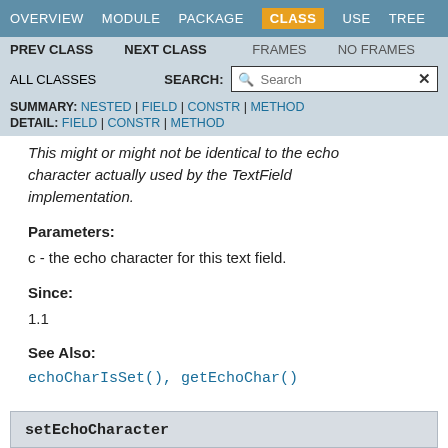OVERVIEW  MODULE  PACKAGE  CLASS  USE  TREE
PREV CLASS  NEXT CLASS  FRAMES  NO FRAMES
ALL CLASSES  SEARCH:
SUMMARY: NESTED | FIELD | CONSTR | METHOD  DETAIL: FIELD | CONSTR | METHOD
This might or might not be identical to the echo character actually used by the TextField implementation.
Parameters:
c - the echo character for this text field.
Since:
1.1
See Also:
echoCharIsSet(), getEchoChar()
setEchoCharacter